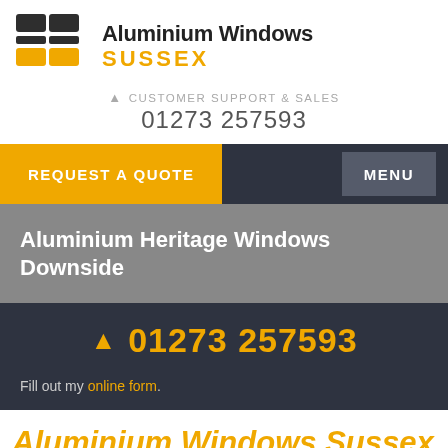[Figure (logo): Aluminium Windows Sussex logo — grid icon with dark and yellow squares, company name in black and yellow]
CUSTOMER SUPPORT & SALES
01273 257593
REQUEST A QUOTE
MENU
Aluminium Heritage Windows Downside
01273 257593
Fill out my online form.
Aluminium Windows Sussex